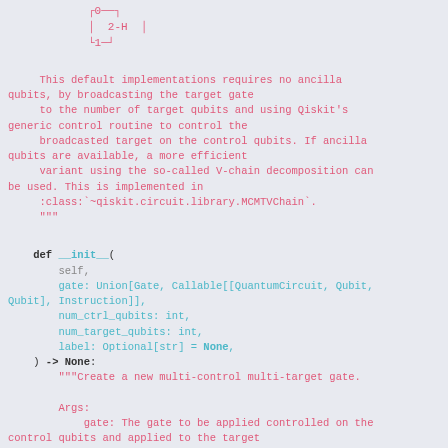[Figure (other): ASCII circuit diagram showing qubits 0 and 1 with a 2-H gate box]
This default implementations requires no ancilla qubits, by broadcasting the target gate to the number of target qubits and using Qiskit's generic control routine to control the broadcasted target on the control qubits. If ancilla qubits are available, a more efficient variant using the so-called V-chain decomposition can be used. This is implemented in :class:`~qiskit.circuit.library.MCMTVChain`. """
def __init__(
        self,
        gate: Union[Gate, Callable[[QuantumCircuit, Qubit, Qubit], Instruction]],
        num_ctrl_qubits: int,
        num_target_qubits: int,
        label: Optional[str] = None,
    ) -> None:
        """Create a new multi-control multi-target gate.

        Args:
            gate: The gate to be applied controlled on the control qubits and applied to the target
                qubits. Can be either a Gate or a circuit method.
                If it is a callable, it will be casted to a Gate.
            num_ctrl_qubits: The number of control qubits.